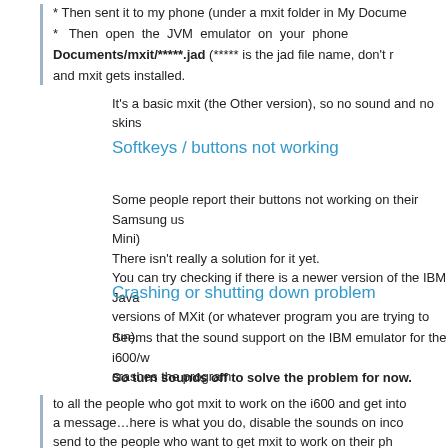* Then sent it to my phone (under a mxit folder in My Documents)
* Then open the JVM emulator on your phone Documents/mxit/*****.jad (***** is the jad file name, don't remember) and mxit gets installed.

It's a basic mxit (the Other version), so no sound and no skins
Softkeys / buttons not working
Some people report their buttons not working on their Samsung us Mini)
There isn't really a solution for it yet.
You can try checking if there is a newer version of the IBM Java versions of MXit (or whatever program you are trying to run).
Crashing or shutting down problem
Seems that the sound support on the IBM emulator for the i600/w crashes the program.
So turn sounds off to solve the problem for now.
to all the people who got mxit to work on the i600 and get into a message…here is what you do, disable the sounds on inco send to the people who want to get mxit to work on their ph tons of emails on how to get mxit to work on the i600, but work…i assume that this has got to do with the network provid keep on mxin!!!